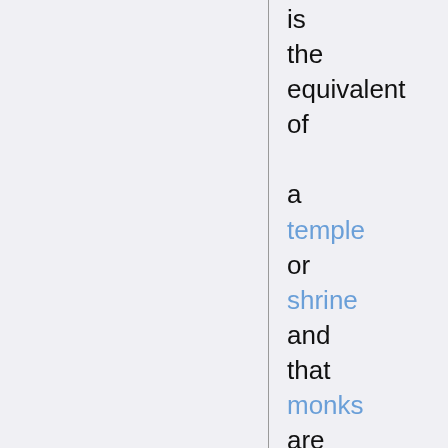is the equivalent of a temple or shrine and that monks are "the most temperate of